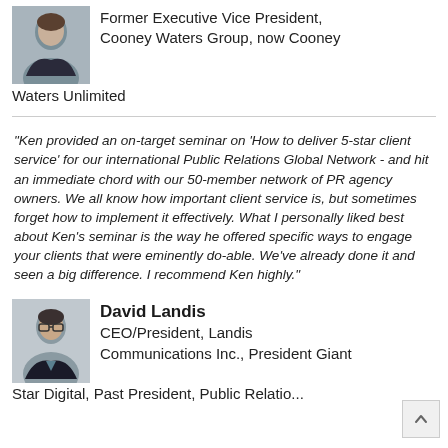[Figure (photo): Headshot of a woman with short dark hair, professional attire]
Former Executive Vice President, Cooney Waters Group, now Cooney Waters Unlimited
"Ken provided an on-target seminar on 'How to deliver 5-star client service' for our international Public Relations Global Network - and hit an immediate chord with our 50-member network of PR agency owners. We all know how important client service is, but sometimes forget how to implement it effectively. What I personally liked best about Ken's seminar is the way he offered specific ways to engage your clients that were eminently do-able. We've already done it and seen a big difference. I recommend Ken highly."
[Figure (photo): Headshot of David Landis, a man with glasses and dark jacket]
David Landis
CEO/President, Landis Communications Inc., President Giant Star Digital, Past President, Public Relations...